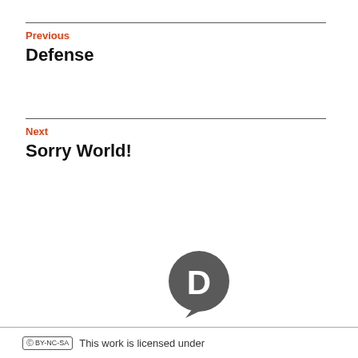Previous
Defense
Next
Sorry World!
[Figure (logo): Disqus logo — dark grey speech bubble with a white D]
This work is licensed under